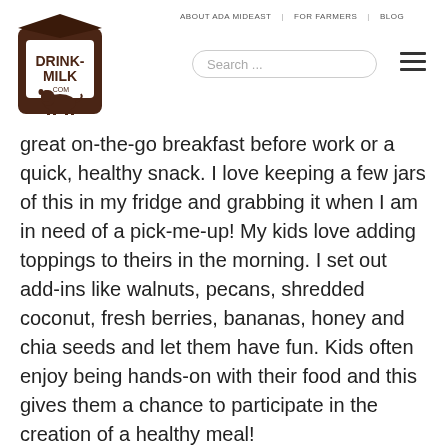[Figure (logo): Drink-Milk.com logo: a milk carton shape in dark brown with a cow silhouette and the text DRINK-MILK .com]
ABOUT ADA MIDEAST   FOR FARMERS   BLOG
great on-the-go breakfast before work or a quick, healthy snack. I love keeping a few jars of this in my fridge and grabbing it when I am in need of a pick-me-up! My kids love adding toppings to theirs in the morning. I set out add-ins like walnuts, pecans, shredded coconut, fresh berries, bananas, honey and chia seeds and let them have fun. Kids often enjoy being hands-on with their food and this gives them a chance to participate in the creation of a healthy meal!